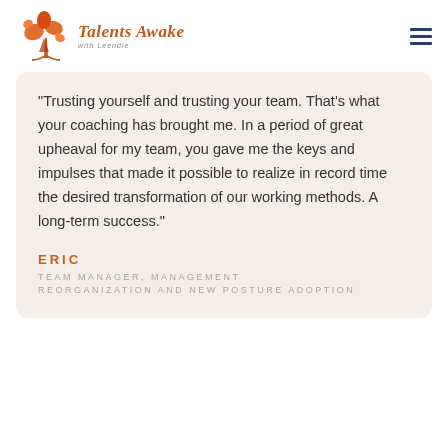[Figure (logo): Talents Awake logo with stylized tree/flower icon in orange and red, with text 'Talents Awake with Leendie']
“Trusting yourself and trusting your team. That’s what your coaching has brought me. In a period of great upheaval for my team, you gave me the keys and impulses that made it possible to realize in record time the desired transformation of our working methods. A long-term success.”
ERIC
TEAM MANAGER, MANAGEMENT REORGANIZATION AND NEW POSTURE ADOPTION